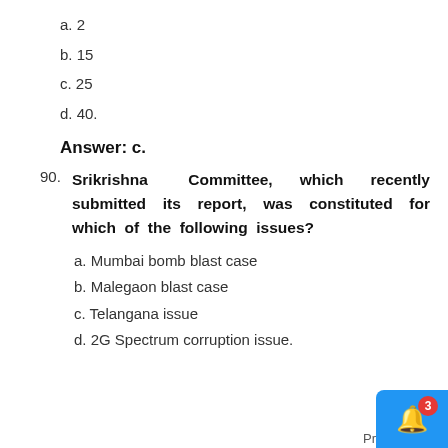a. 2
b. 15
c. 25
d. 40.
Answer: c.
90. Srikrishna Committee, which recently submitted its report, was constituted for which of the following issues?
a. Mumbai bomb blast case
b. Malegaon blast case
c. Telangana issue
d. 2G Spectrum corruption issue.